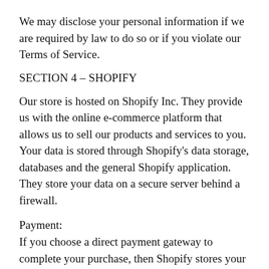We may disclose your personal information if we are required by law to do so or if you violate our Terms of Service.
SECTION 4 – SHOPIFY
Our store is hosted on Shopify Inc. They provide us with the online e-commerce platform that allows us to sell our products and services to you. Your data is stored through Shopify's data storage, databases and the general Shopify application. They store your data on a secure server behind a firewall.
Payment:
If you choose a direct payment gateway to complete your purchase, then Shopify stores your credit card data. It is encrypted through the Payment Card